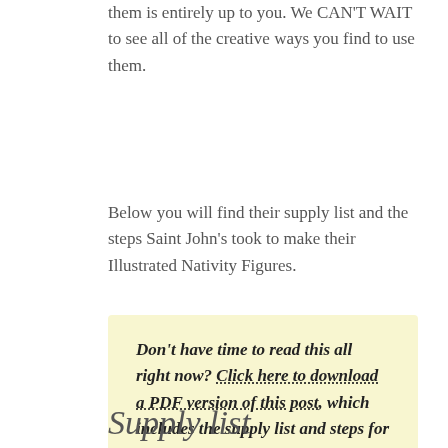them is entirely up to you. We CAN'T WAIT to see all of the creative ways you find to use them.
Below you will find their supply list and the steps Saint John's took to make their Illustrated Nativity Figures.
Don't have time to read this all right now? Click here to download a PDF version of this post, which includes the supply list and steps for creating your own life-size Illustrated Nativity Figures.
Supply list